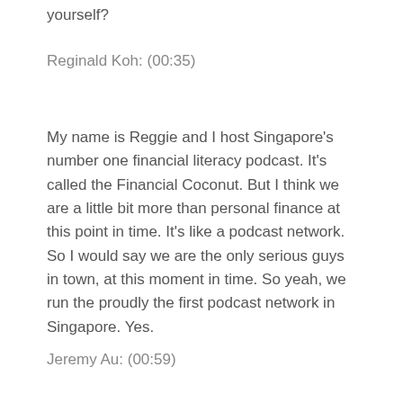yourself?
Reginald Koh: (00:35)
My name is Reggie and I host Singapore's number one financial literacy podcast. It's called the Financial Coconut. But I think we are a little bit more than personal finance at this point in time. It's like a podcast network. So I would say we are the only serious guys in town, at this moment in time. So yeah, we run the proudly the first podcast network in Singapore. Yes.
Jeremy Au: (00:59)